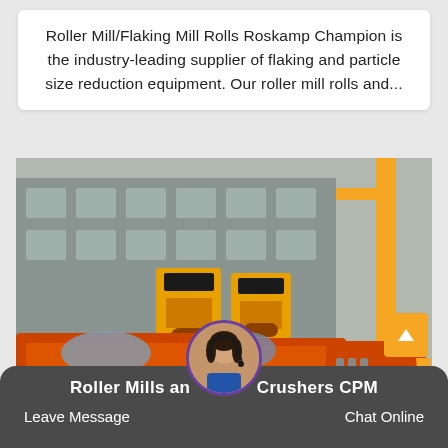Roller Mill/Flaking Mill Rolls Roskamp Champion is the industry-leading supplier of flaking and particle size reduction equipment. Our roller mill rolls and...
[Figure (photo): Outdoor industrial yard with multiple large orange roller mill / crusher machines lined up, with yellow hammer mill machines in the background, set against a grey factory building.]
Roller Mills and Crushers CPM
Leave Message
Chat Online